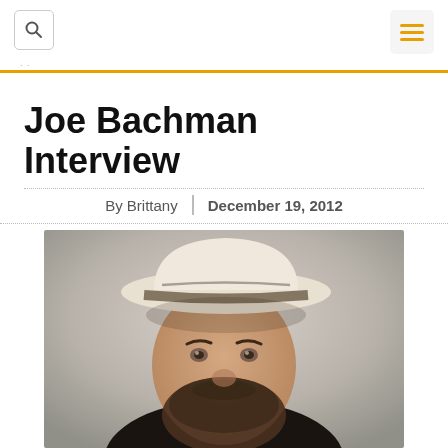Joe Bachman Interview — By Brittany | December 19, 2012
Joe Bachman Interview
By Brittany | December 19, 2012
[Figure (photo): Portrait photo of Joe Bachman, a bearded man wearing a white fedora hat with dark stripe, looking at camera with a slight downward gaze. Background is blurred grey/beige.]